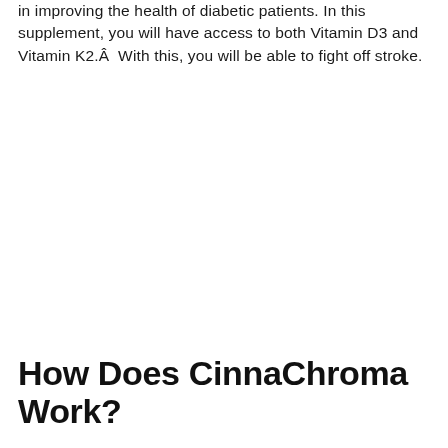in improving the health of diabetic patients. In this supplement, you will have access to both Vitamin D3 and Vitamin K2.Â  With this, you will be able to fight off stroke.
How Does CinnaChroma Work?